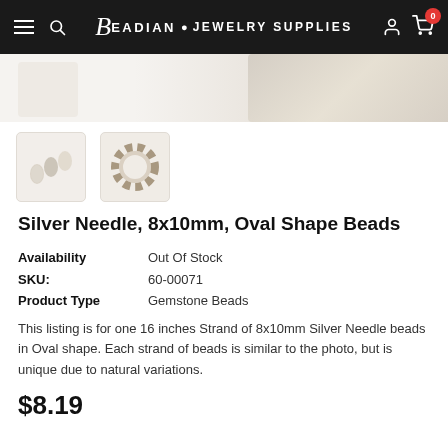Beadian · Jewelry Supplies
[Figure (photo): Partial product hero image showing beads on white/cream background, top of page]
[Figure (photo): Thumbnail 1: Silver needle oval beads strand on white background]
[Figure (photo): Thumbnail 2: Circular arrangement of silver needle oval beads, brown/grey tones]
Silver Needle, 8x10mm, Oval Shape Beads
| Availability | Out Of Stock |
| SKU: | 60-00071 |
| Product Type | Gemstone Beads |
This listing is for one 16 inches Strand of 8x10mm Silver Needle beads in Oval shape. Each strand of beads is similar to the photo, but is unique due to natural variations.
$8.19